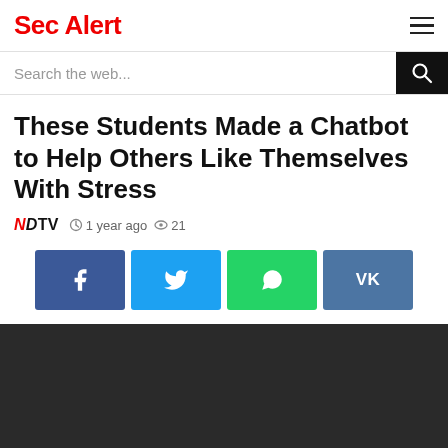Sec Alert
Search the web...
These Students Made a Chatbot to Help Others Like Themselves With Stress
NDTV  1 year ago  21
[Figure (screenshot): Social share buttons: Facebook, Twitter, WhatsApp, VK]
[Figure (photo): Dark/black image section at bottom of page]